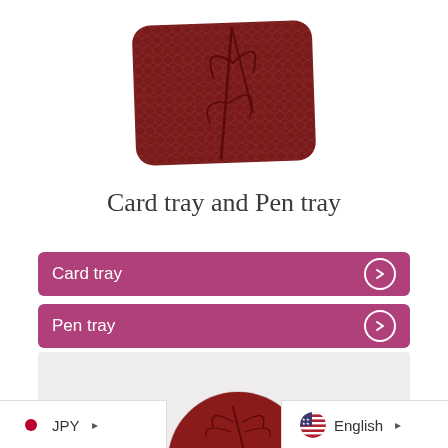[Figure (photo): Red lacquered rectangular card tray with bamboo leaf engraving pattern and textured honeycomb surface, photographed on white background]
Card tray and Pen tray
Card tray ›
Pen tray ›
[Figure (photo): Red lacquered round coaster/tray with dragonfly engraving, partially visible, photographed on light gray background]
JPY ›
English ›